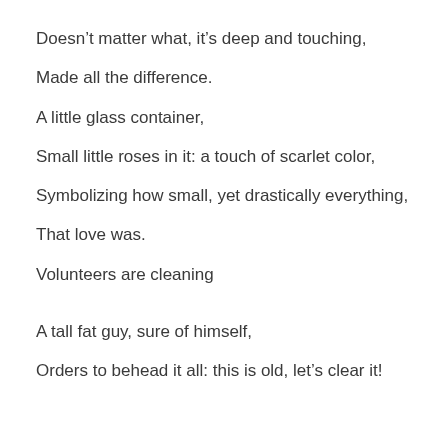Doesn’t matter what, it’s deep and touching,
Made all the difference.
A little glass container,
Small little roses in it: a touch of scarlet color,
Symbolizing how small, yet drastically everything,
That love was.
Volunteers are cleaning
A tall fat guy, sure of himself,
Orders to behead it all: this is old, let’s clear it!